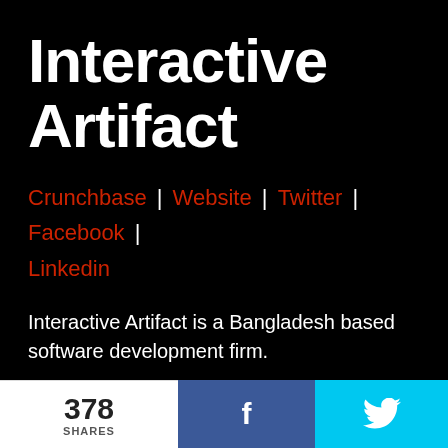Interactive Artifact
Crunchbase | Website | Twitter | Facebook | Linkedin
Interactive Artifact is a Bangladesh based software development firm.
[Figure (other): Dark black section with an up arrow icon in the bottom-right corner]
378 SHARES
f
Twitter bird icon